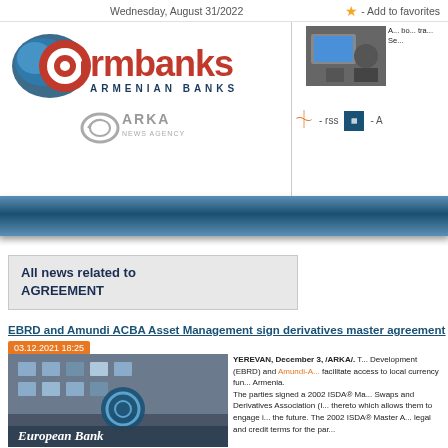Wednesday, August 31/2022  ★ - Add to favorites
[Figure (logo): armbanks ARMENIAN BANKS logo with @ symbol and blue wave graphic]
[Figure (logo): ARKA News Agency logo]
[Figure (photo): Small photo of two people at an event with presentation screen]
- rss    - A
[Figure (other): Blue navigation bar]
All news related to AGREEMENT
EBRD and Amundi ACBA Asset Management sign derivatives master agreement
03.12.2021 18:25
[Figure (photo): Photo of European Bank building exterior with EBRD logo]
YEREVAN, December 3, /ARKA/. The European Bank for Reconstruction and Development (EBRD) and Amundi-A... facilitate access to local currency fund... Armenia. The parties signed a 2002 ISDA® Ma... Swaps and Derivatives Association (I... thereto which allows them to engage i... the future. The 2002 ISDA® Master A... legal and credit terms for the par...